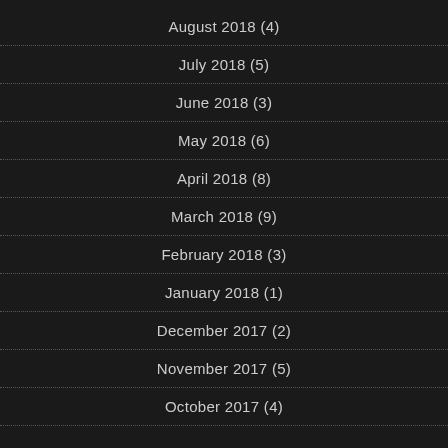August 2018 (4)
July 2018 (5)
June 2018 (3)
May 2018 (6)
April 2018 (8)
March 2018 (9)
February 2018 (3)
January 2018 (1)
December 2017 (2)
November 2017 (5)
October 2017 (4)